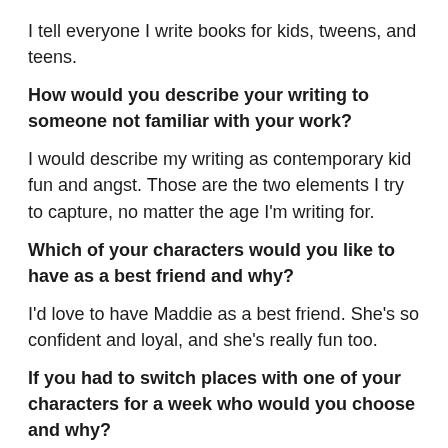I tell everyone I write books for kids, tweens, and teens.
How would you describe your writing to someone not familiar with your work?
I would describe my writing as contemporary kid fun and angst. Those are the two elements I try to capture, no matter the age I'm writing for.
Which of your characters would you like to have as a best friend and why?
I'd love to have Maddie as a best friend. She's so confident and loyal, and she's really fun too.
If you had to switch places with one of your characters for a week who would you choose and why?